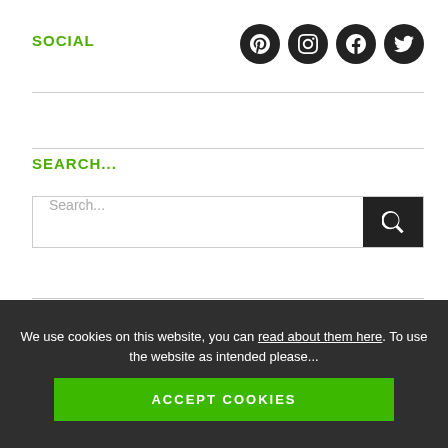SOCIAL
[Figure (illustration): Four dark circular social media icons: Pinterest, Instagram, Facebook, Twitter]
SEARCH...
Search...
RECENT POSTS
How To Plant Tree Ferns – Dicksonia and Cyathea
We use cookies on this website, you can read about them here. To use the website as intended please...
ACCEPT COOKIES